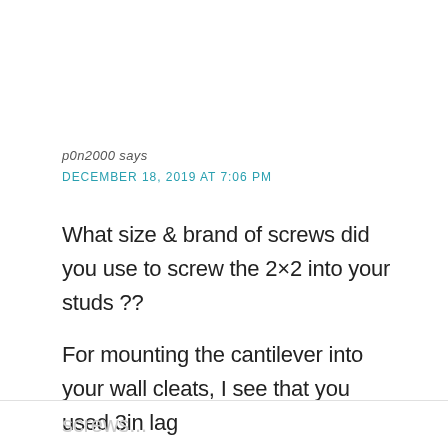p0n2000 says
DECEMBER 18, 2019 AT 7:06 PM
What size & brand of screws did you use to screw the 2×2 into your studs ??
For mounting the cantilever into your wall cleats, I see that you used 3in lag
screws...